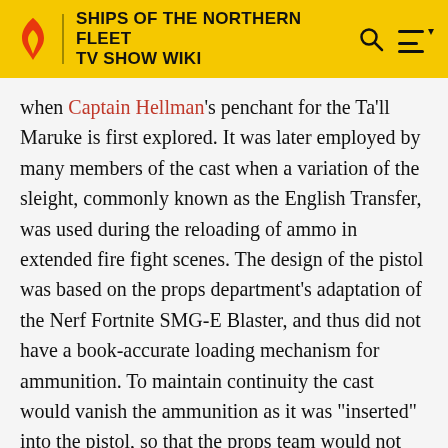SHIPS OF THE NORTHERN FLEET TV SHOW WIKI
when Captain Hellman's penchant for the Ta'll Maruke is first explored. It was later employed by many members of the cast when a variation of the sleight, commonly known as the English Transfer, was used during the reloading of ammo in extended fire fight scenes. The design of the pistol was based on the props department's adaptation of the Nerf Fortnite SMG-E Blaster, and thus did not have a book-accurate loading mechanism for ammunition. To maintain continuity the cast would vanish the ammunition as it was "inserted" into the pistol, so that the props team would not have to further alter the base design.
Many of the panel decorations in the cockpit of The